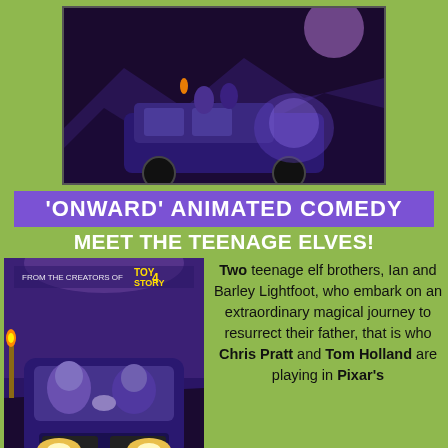[Figure (illustration): Movie poster for Onward showing two elf characters sitting on top of a fantasy van at night with glowing magical effects]
'ONWARD' ANIMATED COMEDY
MEET THE TEENAGE ELVES!
[Figure (illustration): Movie poster showing two elf brothers in a van, from the creators of Toy Story 4, with glowing headlights]
Two teenage elf brothers, Ian and Barley Lightfoot, who embark on an extraordinary magical journey to resurrect their father, that is who Chris Pratt and Tom Holland are playing in Pixar's